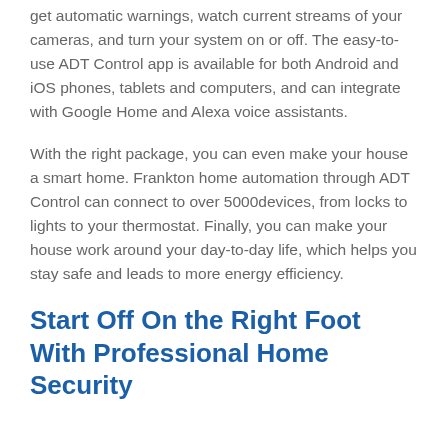get automatic warnings, watch current streams of your cameras, and turn your system on or off. The easy-to-use ADT Control app is available for both Android and iOS phones, tablets and computers, and can integrate with Google Home and Alexa voice assistants.
With the right package, you can even make your house a smart home. Frankton home automation through ADT Control can connect to over 5000devices, from locks to lights to your thermostat. Finally, you can make your house work around your day-to-day life, which helps you stay safe and leads to more energy efficiency.
Start Off On the Right Foot With Professional Home Security